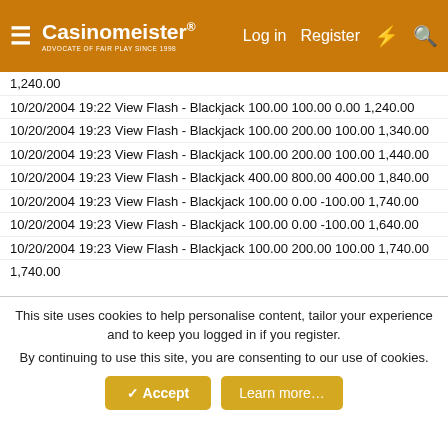Casinomeister® — Log in | Register
1,240.00
10/20/2004 19:22 View Flash - Blackjack 100.00 100.00 0.00 1,240.00
10/20/2004 19:23 View Flash - Blackjack 100.00 200.00 100.00 1,340.00
10/20/2004 19:23 View Flash - Blackjack 100.00 200.00 100.00 1,440.00
10/20/2004 19:23 View Flash - Blackjack 400.00 800.00 400.00 1,840.00
10/20/2004 19:23 View Flash - Blackjack 100.00 0.00 -100.00 1,740.00
10/20/2004 19:23 View Flash - Blackjack 100.00 0.00 -100.00 1,640.00
10/20/2004 19:23 View Flash - Blackjack 100.00 200.00 100.00 1,740.00
This site uses cookies to help personalise content, tailor your experience and to keep you logged in if you register. By continuing to use this site, you are consenting to our use of cookies.